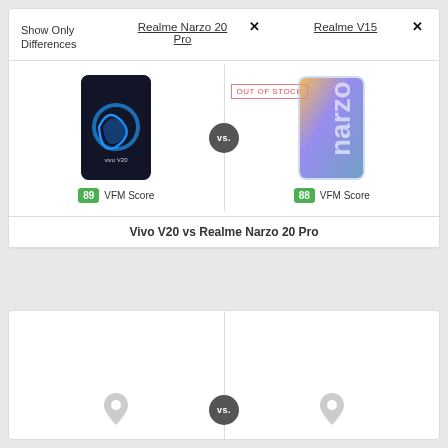Show Only Differences
Realme Narzo 20 Pro
Realme V15
[Figure (photo): Vivo V20 smartphone image with blue background and circular logo design, showing 'vivo V20' branding]
[Figure (photo): Realme Narzo 20 Pro smartphone image with colorful gradient background showing 'narzo' branding, labeled OUT OF STOCK]
89 VFM Score
88 VFM Score
Vivo V20 vs Realme Narzo 20 Pro
[Figure (infographic): Bottom comparison section showing two map pin location icons on either side with a 'vs.' circle in the middle]